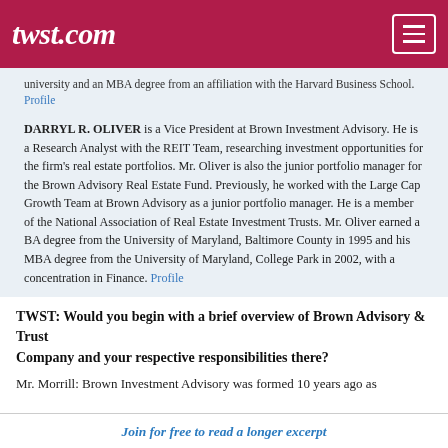twst.com
...university and an MBA degree from an affiliation with the Harvard Business School. Profile
DARRYL R. OLIVER is a Vice President at Brown Investment Advisory. He is a Research Analyst with the REIT Team, researching investment opportunities for the firm's real estate portfolios. Mr. Oliver is also the junior portfolio manager for the Brown Advisory Real Estate Fund. Previously, he worked with the Large Cap Growth Team at Brown Advisory as a junior portfolio manager. He is a member of the National Association of Real Estate Investment Trusts. Mr. Oliver earned a BA degree from the University of Maryland, Baltimore County in 1995 and his MBA degree from the University of Maryland, College Park in 2002, with a concentration in Finance. Profile
TWST: Would you begin with a brief overview of Brown Advisory & Trust Company and your respective responsibilities there?
Mr. Morrill: Brown Investment Advisory was formed 10 years ago as
Join for free to read a longer excerpt